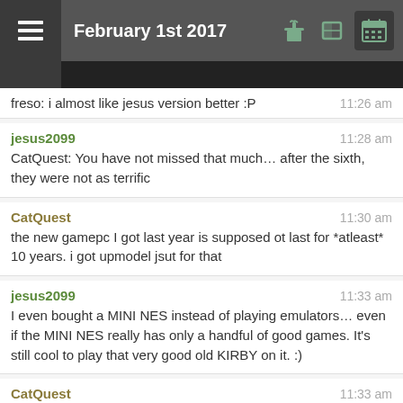February 1st 2017
freso: i almost like jesus version better :P  11:26 am
jesus2099  11:28 am
CatQuest: You have not missed that much... after the sixth, they were not as terrific
CatQuest  11:30 am
the new gamepc I got last year is supposed ot last for *atleast* 10 years. i got upmodel jsut for that
jesus2099  11:33 am
I even bought a MINI NES instead of playing emulators... even if the MINI NES really has only a handful of good games. It's still cool to play that very good old KIRBY on it. :)
CatQuest  11:33 am
kirby \o/